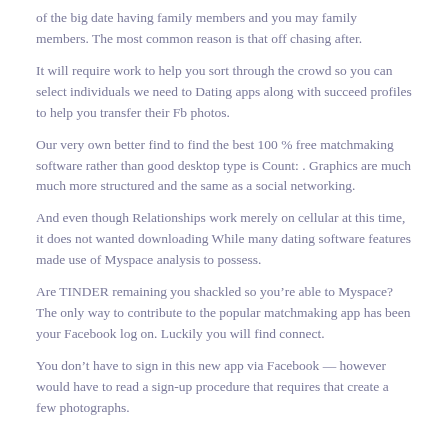of the big date having family members and you may family members. The most common reason is that off chasing after.
It will require work to help you sort through the crowd so you can select individuals we need to Dating apps along with succeed profiles to help you transfer their Fb photos.
Our very own better find to find the best 100 % free matchmaking software rather than good desktop type is Count: . Graphics are much much more structured and the same as a social networking.
And even though Relationships work merely on cellular at this time, it does not wanted downloading While many dating software features made use of Myspace analysis to possess.
Are TINDER remaining you shackled so you're able to Myspace? The only way to contribute to the popular matchmaking app has been your Facebook log on. Luckily you will find connect.
You don’t have to sign in this new app via Facebook — however would have to read a sign-up procedure that requires that create a few photographs.